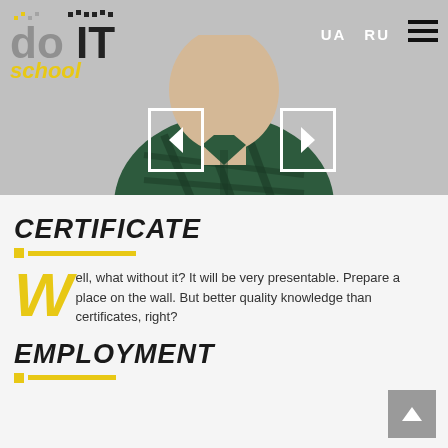[Figure (screenshot): Website header with doit school logo, UA/RU language switcher, hamburger menu, and a hero image of a person in a green plaid shirt with carousel navigation arrows]
CERTIFICATE
Well, what without it? It will be very presentable. Prepare a place on the wall. But better quality knowledge than certificates, right?
EMPLOYMENT